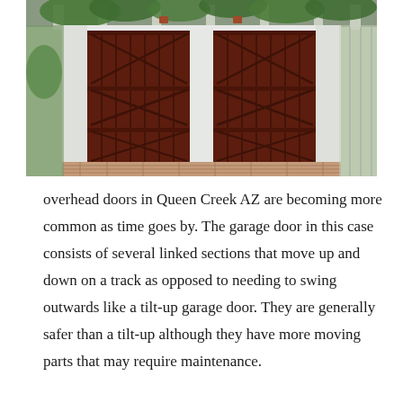[Figure (photo): Two dark wood-stained garage doors with cross-brace decorative panels, set in a white frame with a pergola overhead covered in green vines. Brick driveway in foreground, lush greenery on sides.]
overhead doors in Queen Creek AZ are becoming more common as time goes by. The garage door in this case consists of several linked sections that move up and down on a track as opposed to needing to swing outwards like a tilt-up garage door. They are generally safer than a tilt-up although they have more moving parts that may require maintenance.